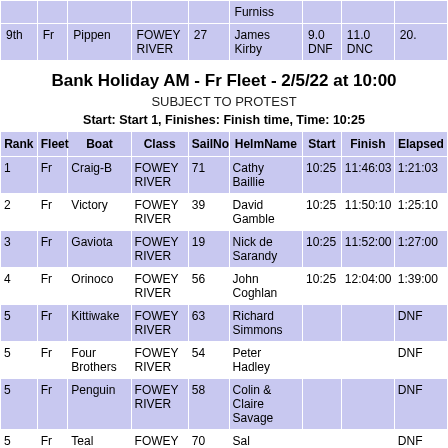|  |  |  |  |  | Furniss |  |  |  |
| --- | --- | --- | --- | --- | --- | --- | --- | --- |
| 9th | Fr | Pippen | FOWEY RIVER | 27 | James Kirby | 9.0 DNF | 11.0 DNC | 20. |
Bank Holiday AM - Fr Fleet - 2/5/22 at 10:00
SUBJECT TO PROTEST
Start: Start 1, Finishes: Finish time, Time: 10:25
| Rank | Fleet | Boat | Class | SailNo | HelmName | Start | Finish | Elapsed |
| --- | --- | --- | --- | --- | --- | --- | --- | --- |
| 1 | Fr | Craig-B | FOWEY RIVER | 71 | Cathy Baillie | 10:25 | 11:46:03 | 1:21:03 |
| 2 | Fr | Victory | FOWEY RIVER | 39 | David Gamble | 10:25 | 11:50:10 | 1:25:10 |
| 3 | Fr | Gaviota | FOWEY RIVER | 19 | Nick de Sarandy | 10:25 | 11:52:00 | 1:27:00 |
| 4 | Fr | Orinoco | FOWEY RIVER | 56 | John Coghlan | 10:25 | 12:04:00 | 1:39:00 |
| 5 | Fr | Kittiwake | FOWEY RIVER | 63 | Richard Simmons |  |  | DNF |
| 5 | Fr | Four Brothers | FOWEY RIVER | 54 | Peter Hadley |  |  | DNF |
| 5 | Fr | Penguin | FOWEY RIVER | 58 | Colin & Claire Savage |  |  | DNF |
| 5 | Fr | Teal | FOWEY RIVER | 70 | Sal |  |  | DNF |